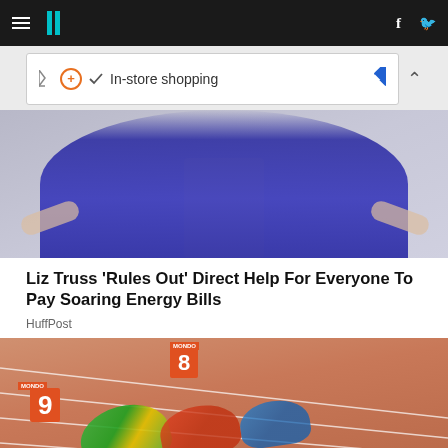HuffPost navigation bar with hamburger menu, logo, Facebook and Twitter icons
[Figure (infographic): Advertisement banner: In-store shopping with icons]
[Figure (photo): Woman in blue blouse seated in interview setting, gesturing with hands]
Liz Truss 'Rules Out' Direct Help For Everyone To Pay Soaring Energy Bills
HuffPost
[Figure (photo): Athletes in starting position on a running track with numbered starting blocks (8 and 9)]